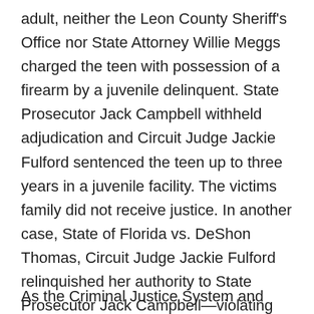adult, neither the Leon County Sheriff's Office nor State Attorney Willie Meggs charged the teen with possession of a firearm by a juvenile delinquent. State Prosecutor Jack Campbell withheld adjudication and Circuit Judge Jackie Fulford sentenced the teen up to three years in a juvenile facility. The victims family did not receive justice. In another case, State of Florida vs. DeShon Thomas, Circuit Judge Jackie Fulford relinquished her authority to State Prosecutor Jack Campbell—violating numerous constitutional laws. A defense attorney stated that he feared for the outcome of his client if he did not participate in unethical behavior directed by Circuit Judge Jackie Fulford.
As the Criminal Justice System and courts around the